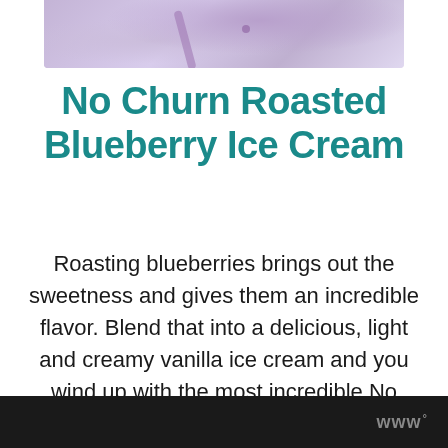[Figure (photo): Close-up photo of lavender/purple blueberry ice cream with a creamy swirled texture]
No Churn Roasted Blueberry Ice Cream
Roasting blueberries brings out the sweetness and gives them an incredible flavor. Blend that into a delicious, light and creamy vanilla ice cream and you wind up with the most incredible No Churn Roasted Blueberry Ice Cream. The perfect summer treat! I cannot even begin to tell you how incredible this creamy berry filled ice
www°